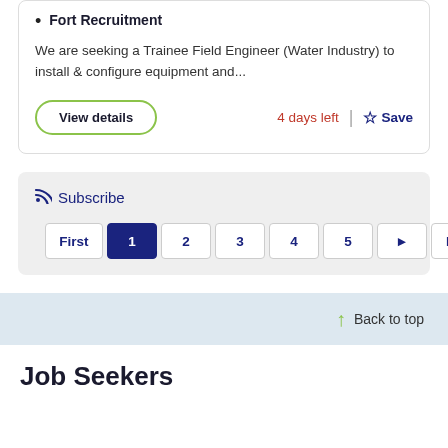Fort Recruitment
We are seeking a Trainee Field Engineer (Water Industry) to install & configure equipment and...
View details | 4 days left | Save
Subscribe
First 1 2 3 4 5 ▶ Last
Back to top
Job Seekers